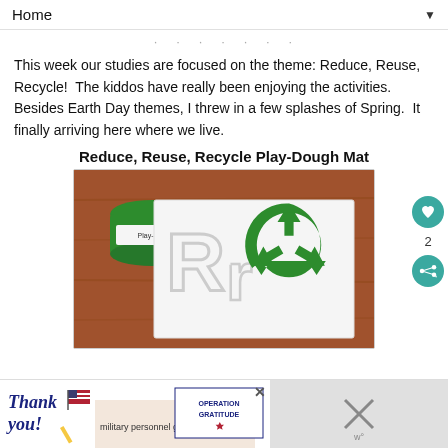Home ▼
· · · · · · ·
This week our studies are focused on the theme: Reduce, Reuse, Recycle!  The kiddos have really been enjoying the activities.  Besides Earth Day themes, I threw in a few splashes of Spring.  It finally arriving here where we live.
Reduce, Reuse, Recycle Play-Dough Mat
[Figure (photo): A photo showing a green Play-Doh container next to a white paper mat with outlined letters 'Rr' and a green recycling symbol, placed on a wooden surface.]
[Figure (other): Advertisement banner: 'Thank you!' with Operation Gratitude imagery including military personnel and flag motifs.]